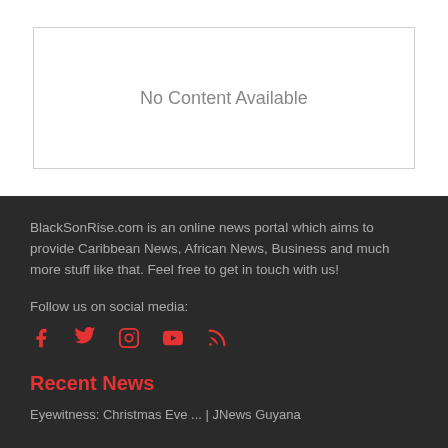No Content Available
BlackSonRise.com is an online news portal which aims to provide Caribbean News, African News, Business and much more stuff like that. Feel free to get in touch with us!
Follow us on social media:
[Figure (infographic): Social media icons: Facebook, Twitter, Instagram, YouTube, RSS feed — all in red]
Recent News
Eyewitness: Christmas Eve ... | JNews Guyana